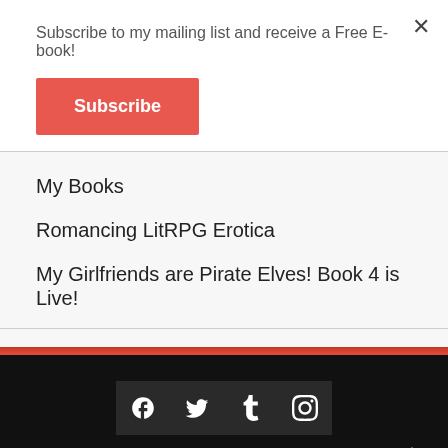Subscribe to my mailing list and receive a Free E-book!
Subscribe
My Books
Romancing LitRPG Erotica
My Girlfriends are Pirate Elves! Book 4 is Live!
Blog at WordPress.com.